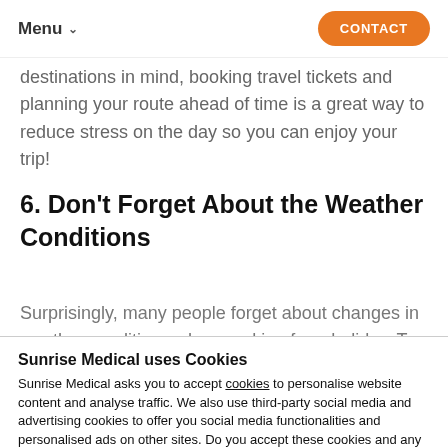Menu  CONTACT
destinations in mind, booking travel tickets and planning your route ahead of time is a great way to reduce stress on the day so you can enjoy your trip!
6. Don't Forget About the Weather Conditions
Surprisingly, many people forget about changes in weather conditions when packing for a holiday. To
Sunrise Medical uses Cookies
Sunrise Medical asks you to accept cookies to personalise website content and analyse traffic. We also use third-party social media and advertising cookies to offer you social media functionalities and personalised ads on other sites. Do you accept these cookies and any processing of personal data involved?
CHANGE SETTINGS    YES, I ACCEPT